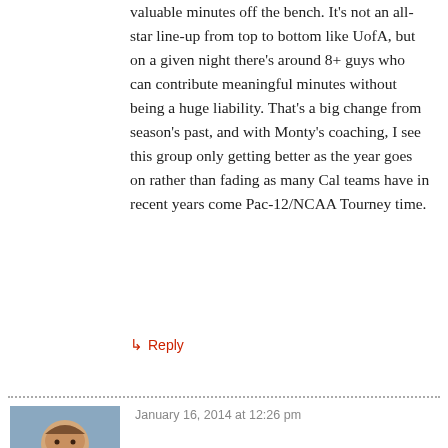valuable minutes off the bench. It's not an all-star line-up from top to bottom like UofA, but on a given night there's around 8+ guys who can contribute meaningful minutes without being a huge liability. That's a big change from season's past, and with Monty's coaching, I see this group only getting better as the year goes on rather than fading as many Cal teams have in recent years come Pac-12/NCAA Tourney time.
↳ Reply
January 16, 2014 at 12:26 pm
[Figure (photo): Avatar photo of a young man with light brown hair, smiling, wearing a plaid shirt, outdoors.]
JMac – you crushed it. I've been really impressed with Matthews and all of this